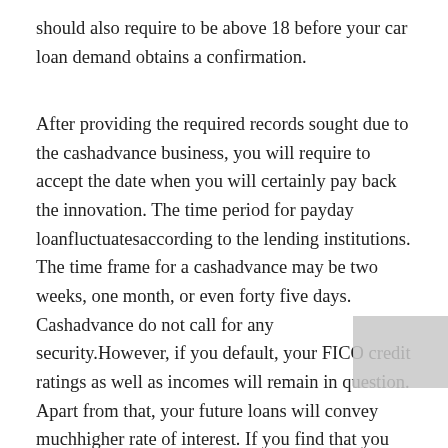should also require to be above 18 before your car loan demand obtains a confirmation.
After providing the required records sought due to the cashadvance business, you will require to accept the date when you will certainly pay back the innovation. The time period for payday loanfluctuatesaccording to the lending institutions. The time frame for a cashadvance may be two weeks, one month, or even forty five days. Cashadvance do not call for any security.However, if you default, your FICO credit ratings as well as incomes will remain in question. Apart from that, your future loans will convey muchhigher rate of interest. If you find that you won't have the capacity to pay the finance company on the as a result of time, you can easily negotiate withthe financial institution to revive your payment date. This time might generate added rates of interest. second chance personal loans with bad credit are actually also available online. If you choose to get the